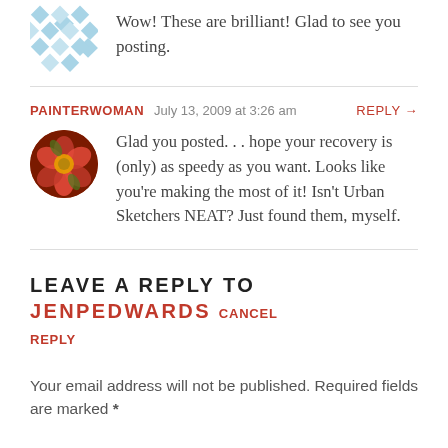Wow! These are brilliant! Glad to see you posting.
PAINTERWOMAN  July 13, 2009 at 3:26 am  REPLY →
Glad you posted. . . hope your recovery is (only) as speedy as you want. Looks like you're making the most of it! Isn't Urban Sketchers NEAT? Just found them, myself.
LEAVE A REPLY TO JENPEDWARDS CANCEL REPLY
Your email address will not be published. Required fields are marked *